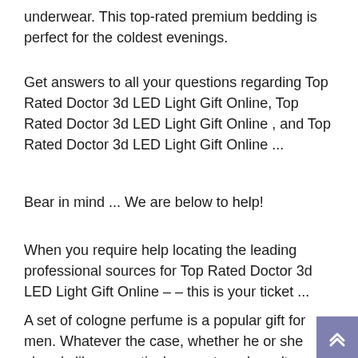underwear. This top-rated premium bedding is perfect for the coldest evenings.
Get answers to all your questions regarding Top Rated Doctor 3d LED Light Gift Online, Top Rated Doctor 3d LED Light Gift Online , and Top Rated Doctor 3d LED Light Gift Online ...
Bear in mind ... We are below to help!
When you require help locating the leading professional sources for Top Rated Doctor 3d LED Light Gift Online – – this is your ticket ...
A set of cologne perfume is a popular gift for men. Whatever the case, whether he or she already likes a particular scent, or doesn't have one It's not hard to find a